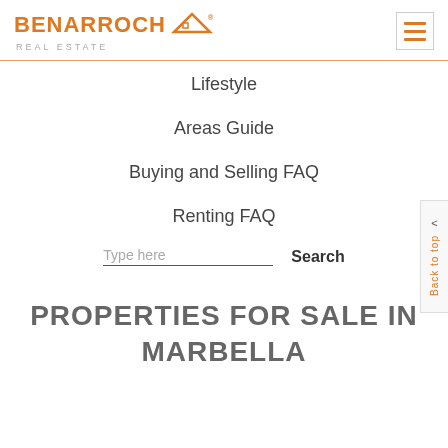[Figure (logo): Benarroch Real Estate logo with orange house/roof icon and registered trademark symbol]
Lifestyle
Areas Guide
Buying and Selling FAQ
Renting FAQ
Type here    Search
PROPERTIES FOR SALE IN MARBELLA